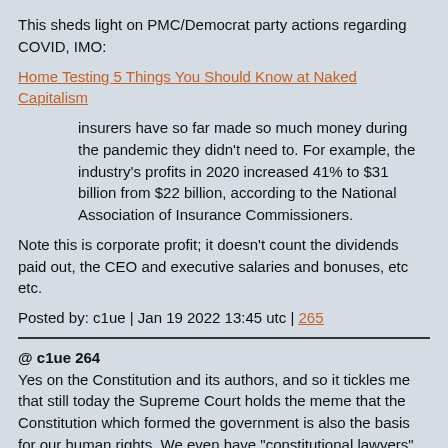This sheds light on PMC/Democrat party actions regarding COVID, IMO:
Home Testing 5 Things You Should Know at Naked Capitalism
insurers have so far made so much money during the pandemic they didn't need to. For example, the industry's profits in 2020 increased 41% to $31 billion from $22 billion, according to the National Association of Insurance Commissioners.
Note this is corporate profit; it doesn't count the dividends paid out, the CEO and executive salaries and bonuses, etc etc.
Posted by: c1ue | Jan 19 2022 13:45 utc | 265
@ c1ue 264
Yes on the Constitution and its authors, and so it tickles me that still today the Supreme Court holds the meme that the Constitution which formed the government is also the basis for our human rights. We even have "constitutional lawyers" to explain it to us!. . . baloney. .It's the promotion of the elite. We were born with our human rights, as the Declaration of Independence states.